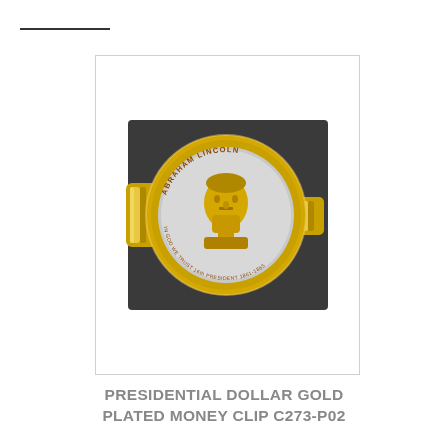[Figure (photo): Gold-plated money clip holding an Abraham Lincoln Presidential Dollar coin. The coin features a gold-colored portrait of Abraham Lincoln with text 'ABRAHAM LINCOLN' at the top and 'IN GOD WE TRUST 16th PRESIDENT 1861-1865' at the bottom. The clip is yellow gold metal.]
PRESIDENTIAL DOLLAR GOLD PLATED MONEY CLIP C273-P02